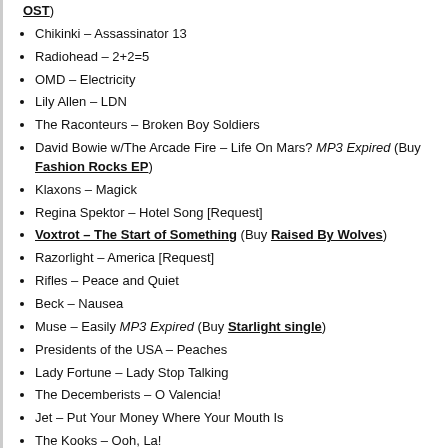OST)
Chikinki – Assassinator 13
Radiohead – 2+2=5
OMD – Electricity
Lily Allen – LDN
The Raconteurs – Broken Boy Soldiers
David Bowie w/The Arcade Fire – Life On Mars? MP3 Expired (Buy Fashion Rocks EP)
Klaxons – Magick
Regina Spektor – Hotel Song [Request]
Voxtrot – The Start of Something (Buy Raised By Wolves)
Razorlight – America [Request]
Rifles – Peace and Quiet
Beck – Nausea
Muse – Easily MP3 Expired (Buy Starlight single)
Presidents of the USA – Peaches
Lady Fortune – Lady Stop Talking
The Decemberists – O Valencia!
Jet – Put Your Money Where Your Mouth Is
The Kooks – Ooh, La!
Electric Six – I Buy The Drugs
Long Blondes – Once & Never Again
Larrikin Love – Edwould
The Pipettes – Judy MP3 Expired (Buy We Are The Pipettes)
Boston – More Than A Feeling [Request]
We Landed on the Moon! – One of a Kind [SEE BELOW]
Pixies – Debaser